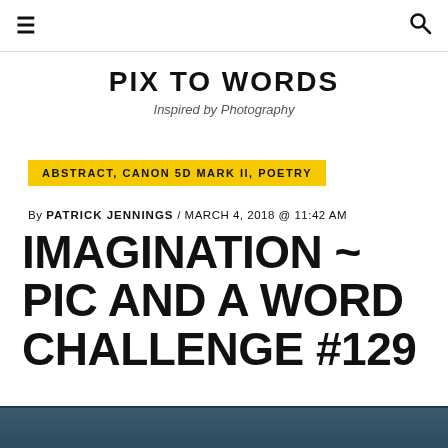≡  [search icon]
PIX TO WORDS
Inspired by Photography
ABSTRACT, CANON 5D MARK II, POETRY
By PATRICK JENNINGS / MARCH 4, 2018 @ 11:42 AM
IMAGINATION ~ PIC AND A WORD CHALLENGE #129
[Figure (photo): Dark teal/blue sky or water abstract photograph, cropped at bottom of page]